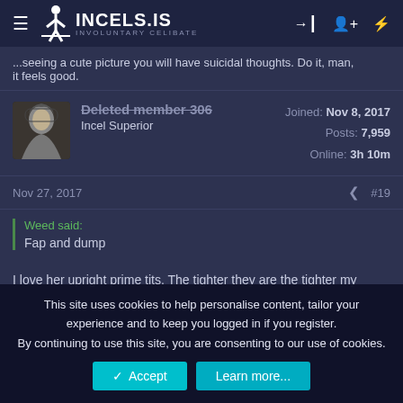INCELS.IS INVOLUNTARY CELIBATE
...seeing a cute picture you will have suicidal thoughts. Do it, man, it feels good.
Deleted member 306 | Incel Superior | Joined: Nov 8, 2017 | Posts: 7,959 | Online: 3h 10m
Nov 27, 2017  #19
Weed said:
Fap and dump
I love her upright prime tits. The tighter they are the tighter my
This site uses cookies to help personalise content, tailor your experience and to keep you logged in if you register. By continuing to use this site, you are consenting to our use of cookies.